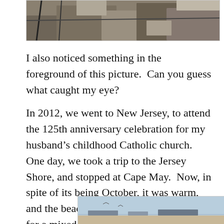[Figure (photo): Partial view of stone ruins or rock formations with structural elements, cropped at top of page]
I also noticed something in the foreground of this picture.  Can you guess what caught my eye?
In 2012, we went to New Jersey, to attend the 125th anniversary celebration for my husband's childhood Catholic church.  One day, we took a trip to the Jersey Shore, and stopped at Cape May.  Now, in spite of its being October, it was warm, and the beach was nearly deserted, except for a mixed flock of seabirds.
[Figure (photo): Partial view of a beach or coastal scene with blue sky, cropped at bottom of page]